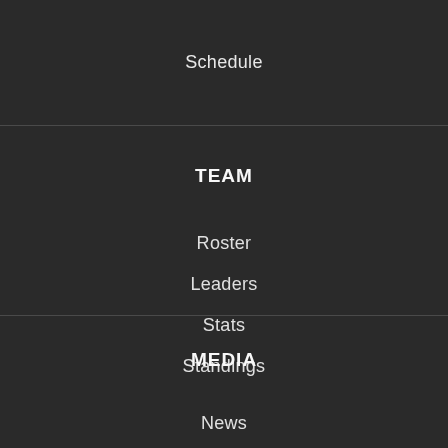Schedule
TEAM
Roster
Leaders
Stats
Standings
MEDIA
News
Photos
Videos